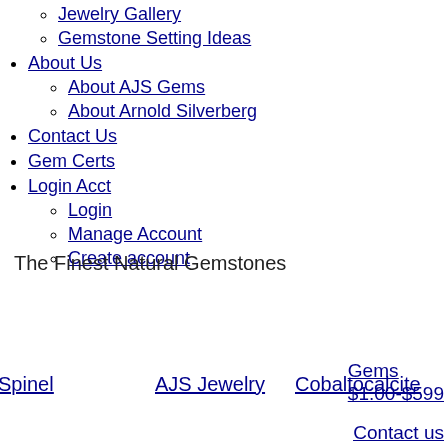Jewelry Gallery
Gemstone Setting Ideas
About Us
About AJS Gems
About Arnold Silverberg
Contact Us
Gem Certs
Login Acct
Login
Manage Account
Create account
The Finest Natural Gemstones
Spinel
AJS Jewelry
Cobaltocalcite
Gems $1.00-$599
Contact us